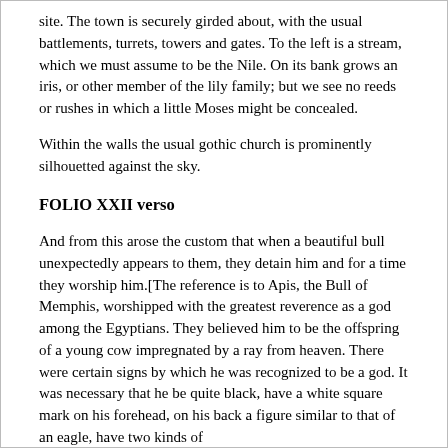site. The town is securely girded about, with the usual battlements, turrets, towers and gates. To the left is a stream, which we must assume to be the Nile. On its bank grows an iris, or other member of the lily family; but we see no reeds or rushes in which a little Moses might be concealed.
Within the walls the usual gothic church is prominently silhouetted against the sky.
FOLIO XXII verso
And from this arose the custom that when a beautiful bull unexpectedly appears to them, they detain him and for a time they worship him.[The reference is to Apis, the Bull of Memphis, worshipped with the greatest reverence as a god among the Egyptians. They believed him to be the offspring of a young cow impregnated by a ray from heaven. There were certain signs by which he was recognized to be a god. It was necessary that he be quite black, have a white square mark on his forehead, on his back a figure similar to that of an eagle, have two kinds of